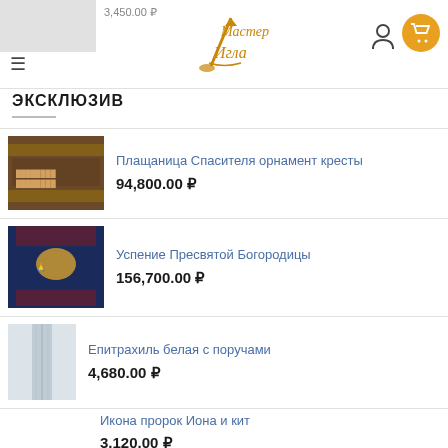Мастер Игла — header with logo, hamburger menu, user icon, cart icon
ЭКСКЛЮЗИВ
Плащаница Спасителя орнамент кресты — 94,800.00 ₽
Успение Пресвятой Богородицы — 156,700.00 ₽
Епитрахиль белая с поручами — 4,680.00 ₽
Икона пророк Иона и кит — 3,120.00 ₽